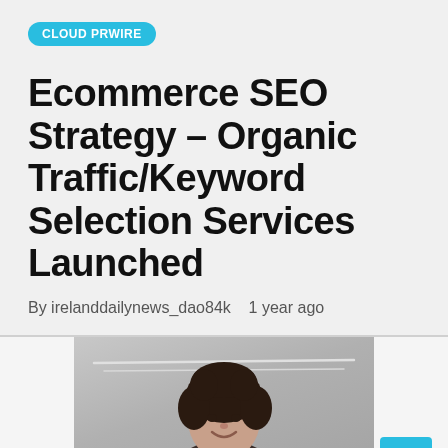CLOUD PRWIRE
Ecommerce SEO Strategy – Organic Traffic/Keyword Selection Services Launched
By irelanddailynews_dao84k   1 year ago
[Figure (photo): Photo of a woman with curly dark hair smiling, standing in an office or indoor setting with ceiling lights visible in the background. A blue scroll-to-top button appears in the bottom right corner.]